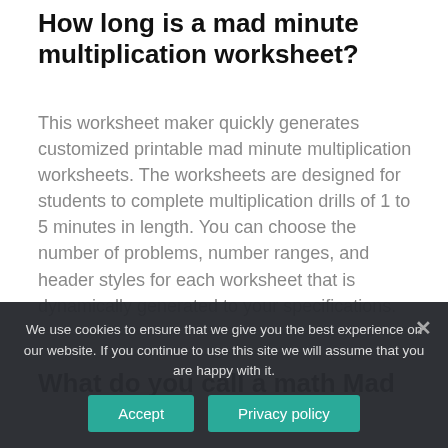How long is a mad minute multiplication worksheet?
This worksheet maker quickly generates customized printable mad minute multiplication worksheets. The worksheets are designed for students to complete multiplication drills of 1 to 5 minutes in length. You can choose the number of problems, number ranges, and header styles for each worksheet that is dynamically generated to your specifications.
What do you call a math Mad
We use cookies to ensure that we give you the best experience on our website. If you continue to use this site we will assume that you are happy with it.